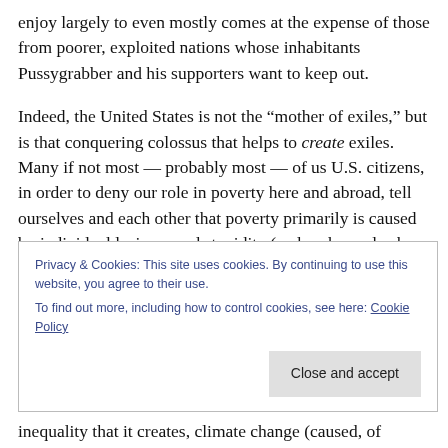enjoy largely to even mostly comes at the expense of those from poorer, exploited nations whose inhabitants Pussygrabber and his supporters want to keep out.
Indeed, the United States is not the “mother of exiles,” but is that conquering colossus that helps to create exiles. Many if not most — probably most — of us U.S. citizens, in order to deny our role in poverty here and abroad, tell ourselves and each other that poverty primarily is caused by individual laziness and stupidity (and perhaps also by racial inferiority).
Privacy & Cookies: This site uses cookies. By continuing to use this website, you agree to their use.
To find out more, including how to control cookies, see here: Cookie Policy
inequality that it creates, climate change (caused, of